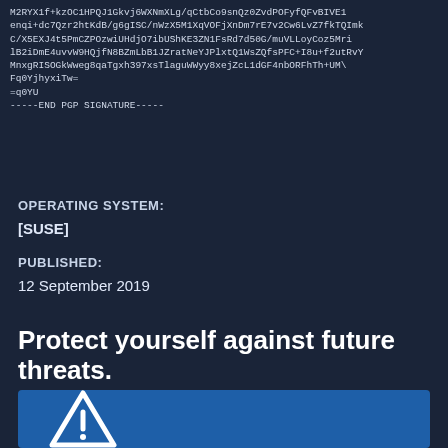M2RYX1f+kzOC1HPQJ1Gkvj6WXNmXLg/qCtbCo9snQz0ZvdPOFyfQFvBIVE1
enqi+dc7Qzr2htKdB/g6gISC/nWzX5M1XqVOFjXnDm7rE7v2Cw6LvZ7fkTQImk
C/X5EXJ4t5PmCZPOzwiUHdjO7ibUShKE3ZN1FsRd7d50G/muVLLoyCoz5Mri
lB2iDmE4uvvW9HQjfN8BZmLbB1JZratNeYJPlxtQ1WsZQfsPFC+I8u+f2utRvY
MnxgRISOGkWweg8qaTgxh397xsTlaguWWyy8xejZcL1dGF4nbORFhTh+UM\
Fq0YjhyxiTw=
=q0YU
-----END PGP SIGNATURE-----
OPERATING SYSTEM:
[SUSE]
PUBLISHED:
12 September 2019
Protect yourself against future threats.
[Figure (illustration): Blue panel with a white warning triangle (triangle with exclamation mark) icon on a blue background]